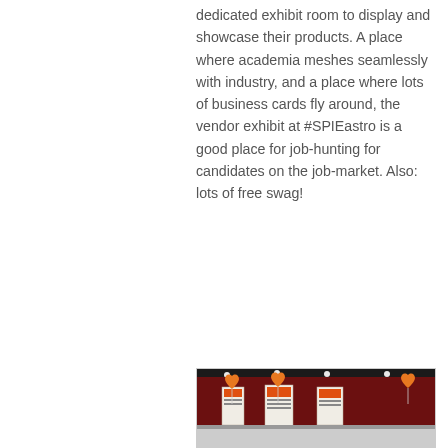dedicated exhibit room to display and showcase their products. A place where academia meshes seamlessly with industry, and a place where lots of business cards fly around, the vendor exhibit at #SPIEastro is a good place for job-hunting for candidates on the job-market. Also: lots of free swag!
[Figure (photo): Photo of an exhibit hall with orange heart-shaped balloons, display banners/panels against a dark red/maroon wall backdrop, with ceiling spotlights visible.]